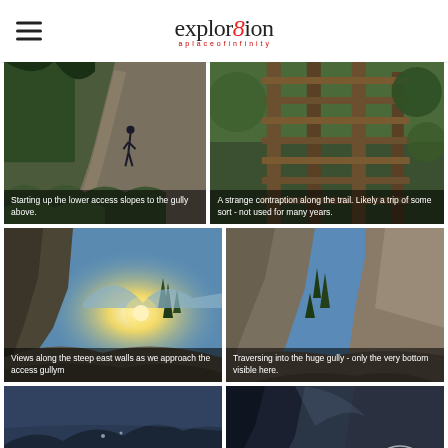explor8ion
[Figure (photo): Hiker starting up lower access slopes to a gully above, rocky mountain trail]
Starting up the lower access slopes to the gully above.
[Figure (photo): A strange wooden contraption along the trail, likely a trip/trap device, not used for many years]
A strange contraption along the trail. Likely a trip of some sort - not used for many years.
[Figure (photo): Views along steep east walls approaching the access gully, sunburst visible between mountain peaks]
Views along the steep east walls as we approach the access gullym
[Figure (photo): Traversing into a huge rocky gully, only the very bottom visible, steep scree slopes]
Traversing into the huge gully - only the very bottom visible here.
[Figure (photo): Wide mountain valley at dusk with dark rocky slopes, two small figures visible on ridgeline]
[Figure (photo): Dark rocky gully interior with circular navigation overlay graphic]